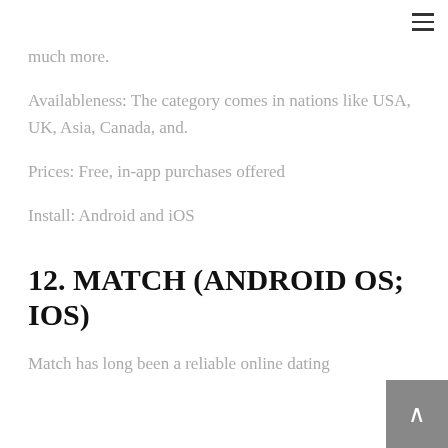much more.
Availableness: The category comes in nations like USA, UK, Asia, Canada, and.
Prices: Free, in-app purchases offered
Install: Android and iOS
12. MATCH (ANDROID OS; IOS)
Match has long been a reliable online dating